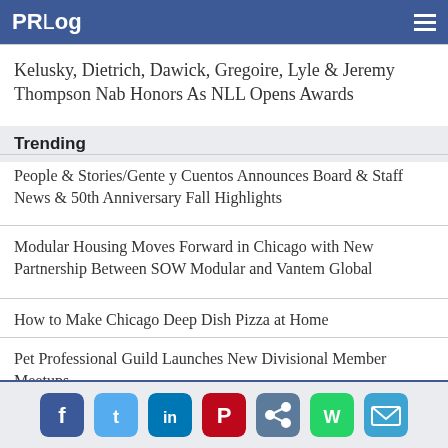PRLog
Kelusky, Dietrich, Dawick, Gregoire, Lyle & Jeremy Thompson Nab Honors As NLL Opens Awards
Trending
People & Stories/Gente y Cuentos Announces Board & Staff News & 50th Anniversary Fall Highlights
Modular Housing Moves Forward in Chicago with New Partnership Between SOW Modular and Vantem Global
How to Make Chicago Deep Dish Pizza at Home
Pet Professional Guild Launches New Divisional Member Meetups
San Diego County Fire Protection District Implements RadioMobile's Integrated Fire Station Alerting
Social share icons: Facebook, Twitter, LinkedIn, Pinterest, Share, WhatsApp, Email